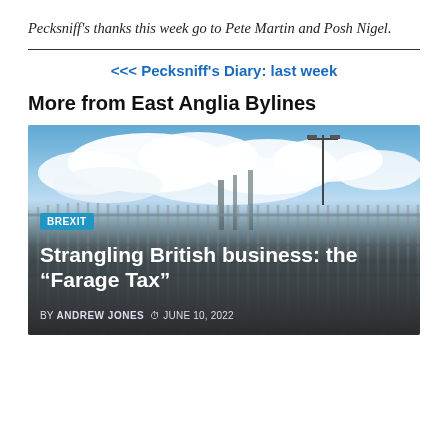Pecksniff's thanks this week go to Pete Martin and Posh Nigel.
<<< Pecksniff's Diary: last week
More from East Anglia Bylines
[Figure (photo): A photograph of a metal security fence with barbed wire under a partly cloudy blue sky. A street lamp is visible in the background. Overlaid text reads 'BREXIT' badge, article title 'Strangling British business: the “Farage Tax”', byline 'BY ANDREW JONES' and date 'JUNE 10, 2022'.]